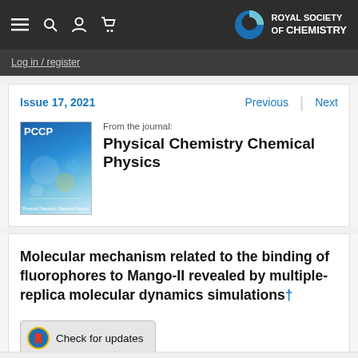Royal Society of Chemistry – navigation bar with menu, search, account, cart icons and RSC logo
Log in / register
Issue 17, 2021
Previous
Next
[Figure (photo): Cover image of Physical Chemistry Chemical Physics (PCCP) journal, Issue 17 2021, showing molecular simulation imagery with blue background]
From the journal:
Physical Chemistry Chemical Physics
Molecular mechanism related to the binding of fluorophores to Mango-II revealed by multiple-replica molecular dynamics simulations†
[Figure (other): Check for updates badge/button with circular red bookmark icon]